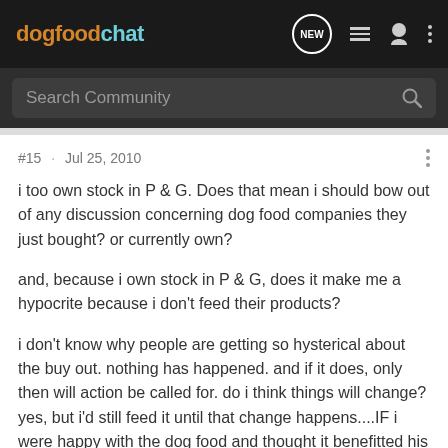dogfoodchat
Search Community
#15 · Jul 25, 2010
i too own stock in P & G. Does that mean i should bow out of any discussion concerning dog food companies they just bought? or currently own?
and, because i own stock in P & G, does it make me a hypocrite because i don't feed their products?
i don't know why people are getting so hysterical about the buy out. nothing has happened. and if it does, only then will action be called for. do i think things will change? yes, but i'd still feed it until that change happens....IF i were happy with the dog food and thought it benefitted his health.